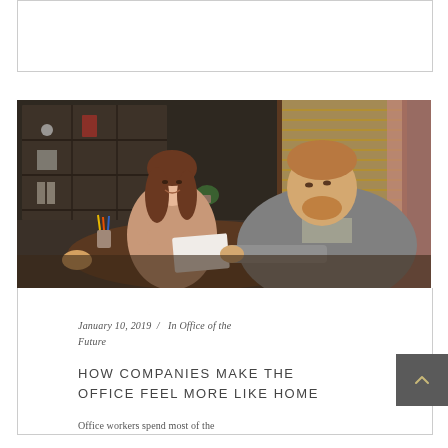[Figure (other): Empty white box with light gray border at top of page]
[Figure (photo): Office meeting photo: a woman with long brown hair in a beige shirt smiles across a round table at a bearded man in a gray jacket. They appear to be exchanging or reviewing documents. Bookshelves and window blinds visible in background.]
January 10, 2019 / In Office of the Future
HOW COMPANIES MAKE THE OFFICE FEEL MORE LIKE HOME
Office workers spend most of the